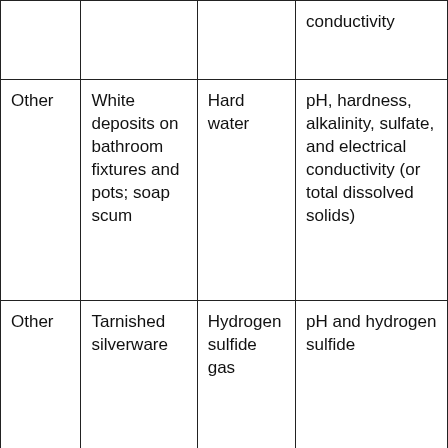|  |  |  | conductivity |
| Other | White deposits on bathroom fixtures and pots; soap scum | Hard water | pH, hardness, alkalinity, sulfate, and electrical conductivity (or total dissolved solids) |
| Other | Tarnished silverware | Hydrogen sulfide gas | pH and hydrogen sulfide |
| Other | Gastrointestinal | Bacterial | Bacteria, |